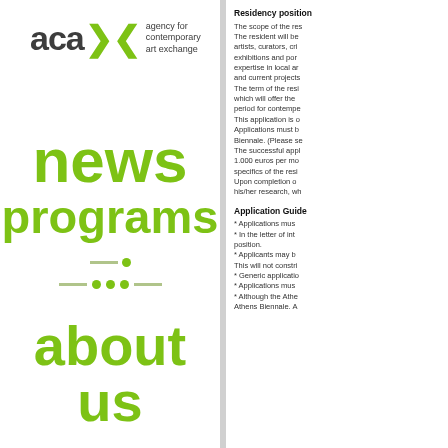[Figure (logo): acax agency for contemporary art exchange logo with green arrow symbol]
news
programs
about us
Residency position
The scope of the res... The resident will be... artists, curators, cri... exhibitions and por... expertise in local ar... and current projects... The term of the resi... which will offer the... period for contemp... This application is... Applications must b... Biennale. (Please se... The successful appl... 1.000 euros per mo... specifics of the resi... Upon completion o... his/her research, wh...
Application Guide
* Applications mus...
* In the letter of int... position.
* Applicants may b... This will not constri...
* Generic applicatio...
* Applications mus...
* Although the Athe... Athens Biennale. A...